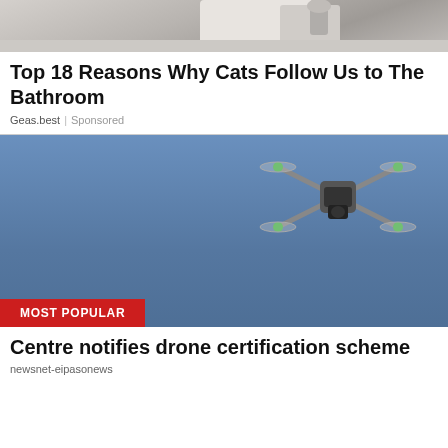[Figure (photo): Partial photo of a person in white clothing near a sink/bathroom, cropped at top]
Top 18 Reasons Why Cats Follow Us to The Bathroom
Geas.best | Sponsored
[Figure (photo): Drone (quadcopter with green lights) flying against a clear blue sky. Red banner overlay reading MOST POPULAR in bottom-left corner.]
Centre notifies drone certification scheme
newsnet-eipasonews